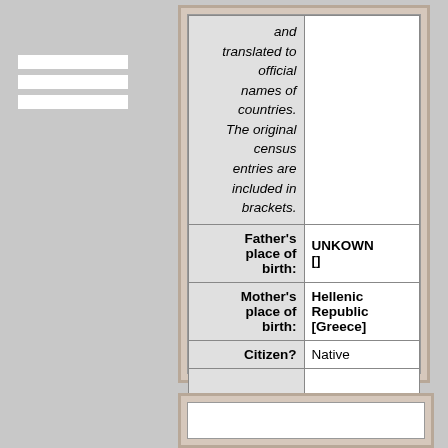| Field | Value |
| --- | --- |
| (italic) and translated to official names of countries. The original census entries are included in brackets. |  |
| Father's place of birth: | UNKOWN [] |
| Mother's place of birth: | Hellenic Republic [Greece] |
| Citizen? | Native |
| Ship, if known: |  |